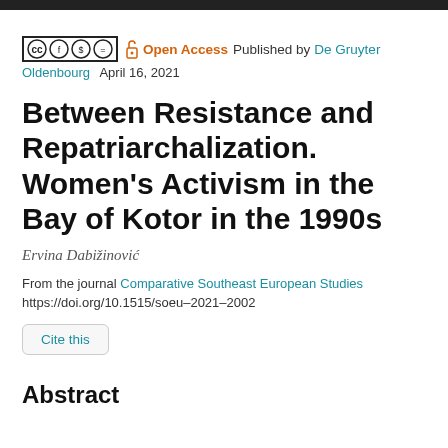[Figure (logo): Creative Commons license icons (CC BY NC ND) in a bordered box, followed by an open lock icon, 'Open Access' in orange, 'Published by De Gruyter Oldenbourg' with De Gruyter Oldenbourg in teal, and date April 16, 2021]
Between Resistance and Repatriarchalization. Women's Activism in the Bay of Kotor in the 1990s
Ervina Dabižinović
From the journal Comparative Southeast European Studies https://doi.org/10.1515/soeu-2021-2002
Cite this
Abstract